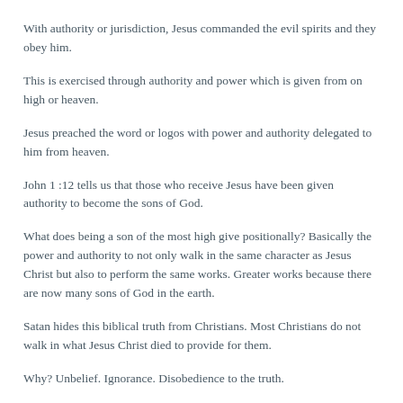With authority or jurisdiction, Jesus commanded the evil spirits and they obey him.
This is exercised through authority and power which is given from on high or heaven.
Jesus preached the word or logos with power and authority delegated to him from heaven.
John 1 :12 tells us that those who receive Jesus have been given authority to become the sons of God.
What does being a son of the most high give positionally? Basically the power and authority to not only walk in the same character as Jesus Christ but also to perform the same works. Greater works because there are now many sons of God in the earth.
Satan hides this biblical truth from Christians. Most Christians do not walk in what Jesus Christ died to provide for them.
Why? Unbelief. Ignorance. Disobedience to the truth.